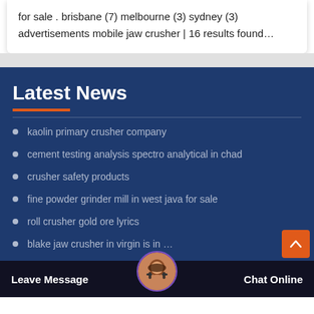for sale . brisbane (7) melbourne (3) sydney (3) advertisements mobile jaw crusher | 16 results found…
Latest News
kaolin primary crusher company
cement testing analysis spectro analytical in chad
crusher safety products
fine powder grinder mill in west java for sale
roll crusher gold ore lyrics
blake jaw crusher in virgin is… in …
Leave Message   Chat Online